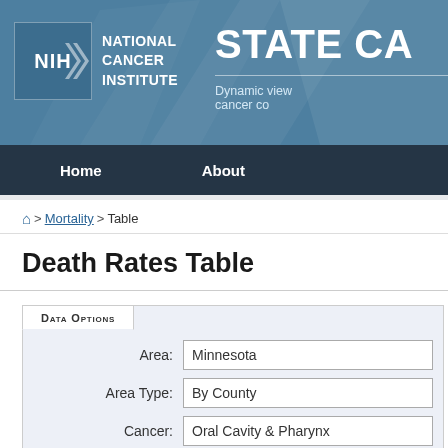NIH National Cancer Institute — STATE CA... Dynamic view of cancer co...
Home | About
🏠 > Mortality > Table
Death Rates Table
| Field | Value |
| --- | --- |
| Area: | Minnesota |
| Area Type: | By County |
| Cancer: | Oral Cavity & Pharynx |